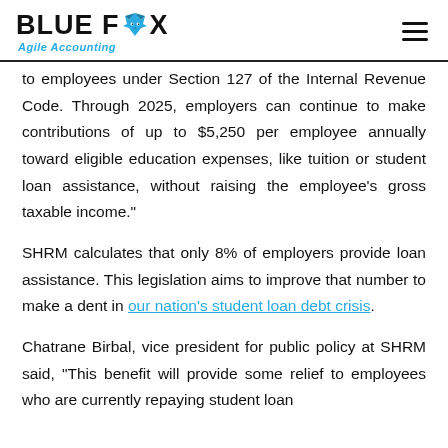BLUE FOX Agile Accounting
to employees under Section 127 of the Internal Revenue Code. Through 2025, employers can continue to make contributions of up to $5,250 per employee annually toward eligible education expenses, like tuition or student loan assistance, without raising the employee’s gross taxable income.”
SHRM calculates that only 8% of employers provide loan assistance. This legislation aims to improve that number to make a dent in our nation’s student loan debt crisis.
Chatrane Birbal, vice president for public policy at SHRM said, “This benefit will provide some relief to employees who are currently repaying student loan